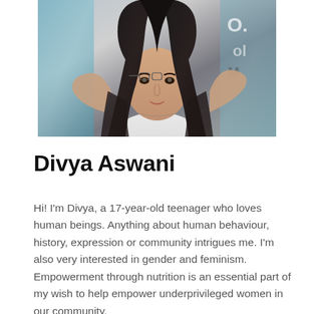[Figure (photo): Profile photo of Divya Aswani, a young woman with long dark wavy hair wearing a white sleeveless top, taking a selfie]
Divya Aswani
Hi! I'm Divya, a 17-year-old teenager who loves human beings. Anything about human behaviour, history, expression or community intrigues me. I'm also very interested in gender and feminism. Empowerment through nutrition is an essential part of my wish to help empower underprivileged women in our community.